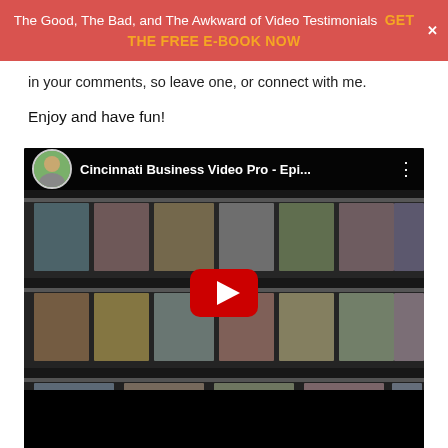The Good, The Bad, and The Awkward of Video Testimonials  GET THE FREE E-BOOK NOW
in your comments, so leave one, or connect with me.
Enjoy and have fun!
[Figure (screenshot): Embedded YouTube video player showing 'Cincinnati Business Video Pro - Epi...' with a magazine rack thumbnail, circular avatar of host, and red play button overlay.]